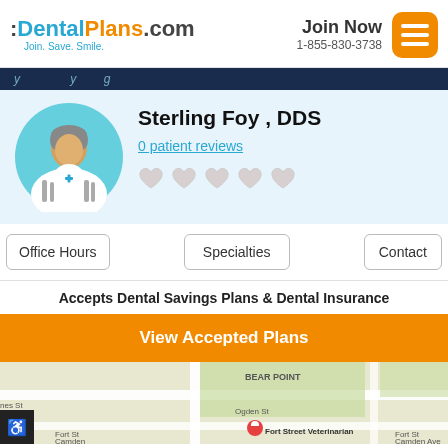DentalPlans.com — Join. Save. Smile. | Join Now 1-855-830-3738
Sterling Foy , DDS
0 patient reviews
Office Hours | Specialties | Contact
Accepts Dental Savings Plans & Dental Insurance
View Accepted Plans
[Figure (map): Street map showing location near Fort Street Veterinarian, with Ogden St and Bear Point area visible]